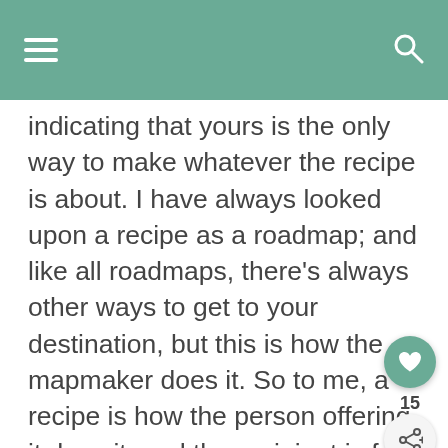indicating that yours is the only way to make whatever the recipe is about. I have always looked upon a recipe as a roadmap; and like all roadmaps, there’s always other ways to get to your destination, but this is how the mapmaker does it. So to me, a recipe is how the person offering it does it; and the recipient is free to make any changes they so desire. But they should do so with some gratitude towards the